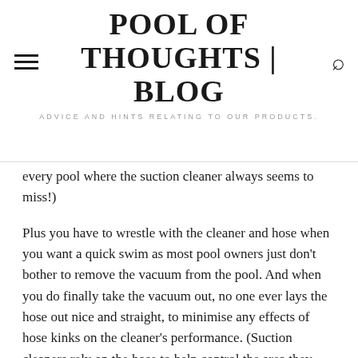POOL OF THOUGHTS | BLOG
ADVICE AND HINTS RELATING TO OUR PRODUCTS.
every pool where the suction cleaner always seems to miss!)
Plus you have to wrestle with the cleaner and hose when you want a quick swim as most pool owners just don't bother to remove the vacuum from the pool. And when you do finally take the vacuum out, no one ever lays the hose out nice and straight, to minimise any effects of hose kinks on the cleaner's performance. (Suction cleaners rely on the hose to help control the area they cover and the direction they take).
I've personally owned a number of suction cleaners over the years, and a couple of robots, so I thought I'd put together some of my thoughts, to help anyone who is tossing up between a